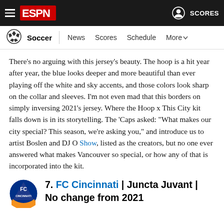ESPN - Soccer | News Scores Schedule More
There's no arguing with this jersey's beauty. The hoop is a hit year after year, the blue looks deeper and more beautiful than ever playing off the white and sky accents, and those colors look sharp on the collar and sleeves. I'm not even mad that this borders on simply inversing 2021's jersey. Where the Hoop x This City kit falls down is in its storytelling. The 'Caps asked: "What makes our city special? This season, we're asking you," and introduce us to artist Boslen and DJ O Show, listed as the creators, but no one ever answered what makes Vancouver so special, or how any of that is incorporated into the kit.
7. FC Cincinnati | Juncta Juvant | No change from 2021